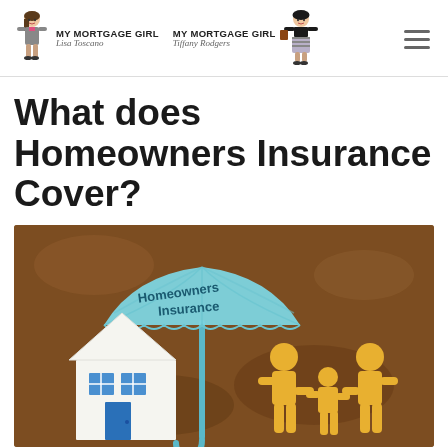MY MORTGAGE GIRL Lisa Toscano | MY MORTGAGE GIRL Tiffany Rodgers
What does Homeowners Insurance Cover?
[Figure (photo): Homeowners insurance promotional image showing a light blue paper umbrella labeled 'Homeowners Insurance' sheltering a white paper cutout house with blue windows and door, alongside yellow paper cutout family figures (adult, child, adult), all on a brown textured background.]